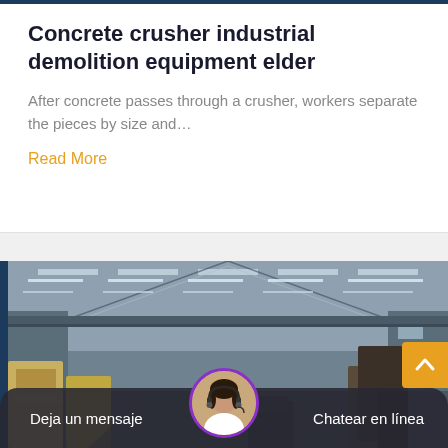Concrete crusher industrial demolition equipment elder
After concrete passes through a crusher, workers separate the pieces by size and…
Read More
[Figure (photo): Interior of an industrial warehouse/factory with heavy equipment (crushers), metal roof structure with skylights, viewed from one end showing a long perspective. A female customer service agent avatar appears at the bottom center.]
Deja un mensaje    Chatear en línea